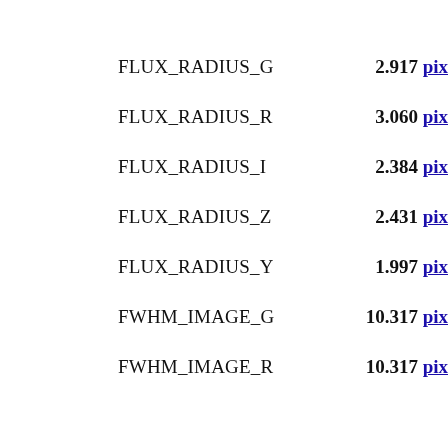FLUX_RADIUS_G   2.917 pix
FLUX_RADIUS_R   3.060 pix
FLUX_RADIUS_I   2.384 pix
FLUX_RADIUS_Z   2.431 pix
FLUX_RADIUS_Y   1.997 pix
FWHM_IMAGE_G   10.317 pix
FWHM_IMAGE_R   10.317 pix